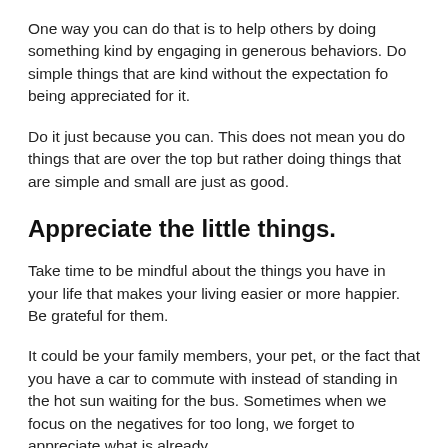One way you can do that is to help others by doing something kind by engaging in generous behaviors. Do simple things that are kind without the expectation fo being appreciated for it.
Do it just because you can. This does not mean you do things that are over the top but rather doing things that are simple and small are just as good.
Appreciate the little things.
Take time to be mindful about the things you have in your life that makes your living easier or more happier. Be grateful for them.
It could be your family members, your pet, or the fact that you have a car to commute with instead of standing in the hot sun waiting for the bus. Sometimes when we focus on the negatives for too long, we forget to appreciate what is already going on in our lives.